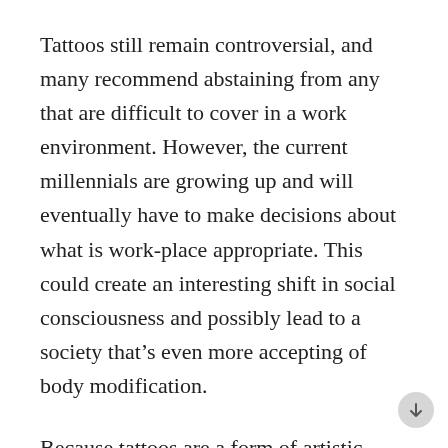Tattoos still remain controversial, and many recommend abstaining from any that are difficult to cover in a work environment. However, the current millennials are growing up and will eventually have to make decisions about what is work-place appropriate. This could create an interesting shift in social consciousness and possibly lead to a society that's even more accepting of body modification.
Because tattoos are a form of artistic expression that has only recently come roaring into popularity, only time will tell if this is merely a fad or an actual shift in the way we view tattoos as an art form. Whether you have an infinity symbol, a tribal print, or a personalized design, tattoos are a way to show off what makes you, you. When considered carefully, tattoos can become a beautiful commemoration of a stage of your life. I love that we've reached a point where I can walk into a tattoo parlor and